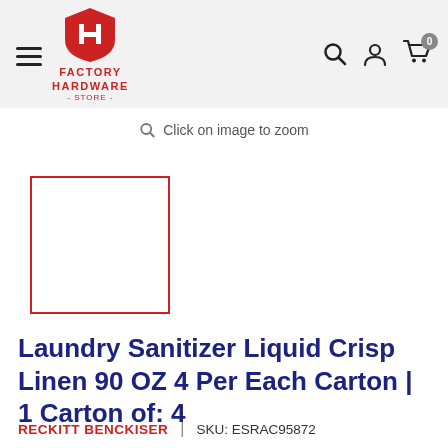Factory Hardware Store — navigation header with hamburger menu, logo, search, account, and cart icons
Click on image to zoom
[Figure (photo): Product thumbnail image box with red border (image not loaded)]
Laundry Sanitizer Liquid Crisp Linen 90 OZ 4 Per Each Carton | 1 Carton of: 4
RECKITT BENCKISER  |  SKU: ESRAC95872